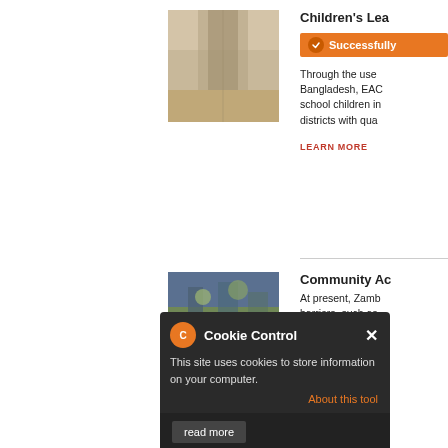[Figure (photo): Street scene in Bangladesh, narrow alleyway]
Children's Lea
Successfully
Through the use Bangladesh, EAC school children in districts with qua
LEARN MORE
[Figure (photo): Community photo with people gathered outside]
Community Ac
At present, Zamb barriers, such as (particularly in ru and a lack of ano those with specia especially prono primary-aged chi school.
Cookie Control
This site uses cookies to store information on your computer.
About this tool
read more